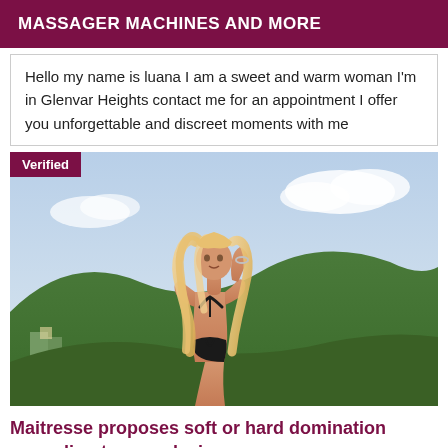MASSAGER MACHINES AND MORE
Hello my name is luana I am a sweet and warm woman I'm in Glenvar Heights contact me for an appointment I offer you unforgettable and discreet moments with me
[Figure (photo): A blonde woman wearing a black bikini posing outdoors with hills and sky in the background. A 'Verified' badge is overlaid in the top-left corner.]
Maitresse proposes soft or hard domination according to your desire